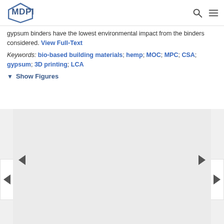MDPI
gypsum binders have the lowest environmental impact from the binders considered. View Full-Text
Keywords: bio-based building materials; hemp; MOC; MPC; CSA; gypsum; 3D printing; LCA
▼ Show Figures
[Figure (other): Figure viewer carousel with navigation arrows (left/right) inside a light grey panel. The main image area is empty/loading.]